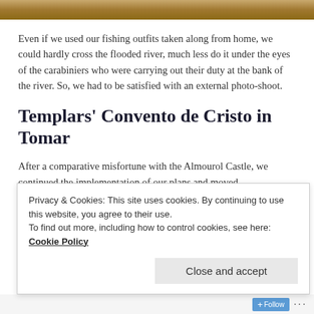[Figure (photo): Partial photo at top of page showing sandy/stone texture, cropped]
Even if we used our fishing outfits taken along from home, we could hardly cross the flooded river, much less do it under the eyes of the carabiniers who were carrying out their duty at the bank of the river. So, we had to be satisfied with an external photo-shoot.
Templars' Convento de Cristo in Tomar
After a comparative misfortune with the Almourol Castle, we continued the implementation of our plans and moved
Privacy & Cookies: This site uses cookies. By continuing to use this website, you agree to their use.
To find out more, including how to control cookies, see here: Cookie Policy
Close and accept